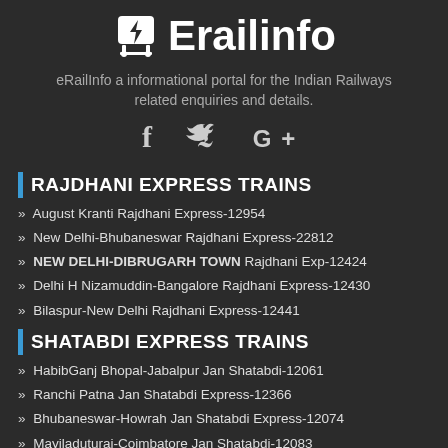Erailinfo
eRailInfo a informational portal for the Indian Railways related enquiries and details.
[Figure (infographic): Social media icons: Facebook (f), Twitter (bird), Google+ (G+)]
RAJDHANI EXPRESS TRAINS
August Kranti Rajdhani Express-12954
New Delhi-Bhubaneswar Rajdhani Express-22812
NEW DELHI-DIBRUGARH TOWN Rajdhani Exp-12424
Delhi H Nizamuddin-Bangalore Rajdhani Express-12430
Bilaspur-New Delhi Rajdhani Express-12441
SHATABDI EXPRESS TRAINS
HabibGanj Bhopal-Jabalpur Jan Shatabdi-12061
Ranchi Patna Jan Shatabdi Express-12366
Bhubaneswar-Howrah Jan Shatabdi Express-12074
Mayiladuturai-Coimbatore Jan Shatabdi-12083